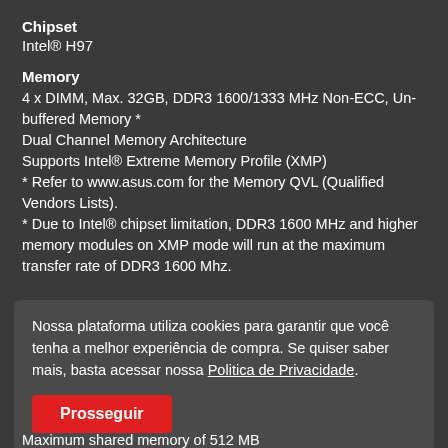Chipset
Intel® H97
Memory
4 x DIMM, Max. 32GB, DDR3 1600/1333 MHz Non-ECC, Unbuffered Memory *
Dual Channel Memory Architecture
Supports Intel® Extreme Memory Profile (XMP)
* Refer to www.asus.com for the Memory QVL (Qualified Vendors Lists).
* Due to Intel® chipset limitation, DDR3 1600 MHz and higher memory modules on XMP mode will run at the maximum transfer rate of DDR3 1600 Mhz.
Nossa plataforma utiliza cookies para garantir que você tenha a melhor experiência de compra. Se quiser saber mais, basta acessar nossa Politica de Privacidade.
Prosseguir
Maximum shared memory of 512 MB